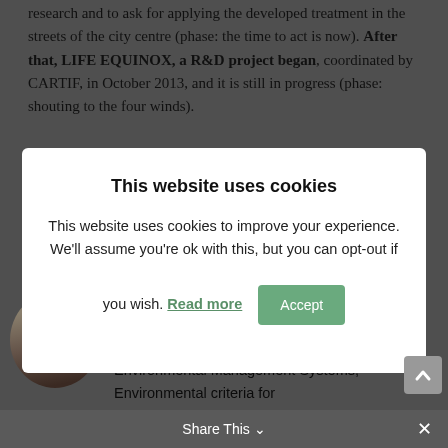research and to ask for applying the developed treatment in the streets of the city centre (phase: the time to act is now). After that, LIFE EQUINOX, a R&D project began, coordinated by CARTIF, in October 2013, and it is still in progress (phase: shouting to the four winds).
[Figure (screenshot): Cookie consent modal dialog overlaying a webpage. The modal has a white background with title 'This website uses cookies', body text explaining cookie usage with a 'Read more' link in green and an 'Accept' button in green.]
Chemical Engineer. She is currently working in the environmental sustainability of different solutions via LCA studies, Eco-labels, Environmental Management Systems, Environmental criteria for
Share This ∨  ✕